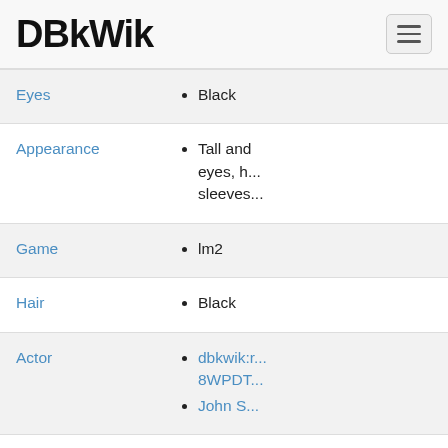DBkWik
| Property | Value |
| --- | --- |
| Eyes | Black |
| Appearance | Tall and ... eyes, h... sleeves... |
| Game | lm2 |
| Hair | Black |
| Actor | dbkwik:r...8WPDT..., John S... |
| Name | Mr. Hyd... |
| Personality | Scary, u... |